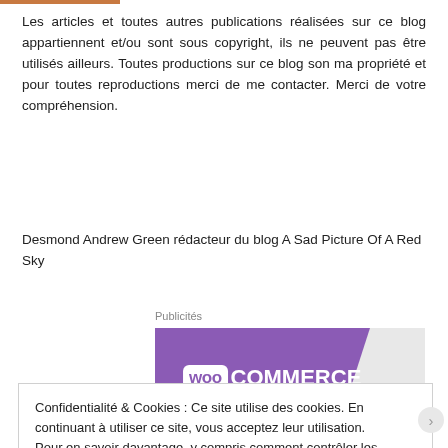Les articles et toutes autres publications réalisées sur ce blog appartiennent et/ou sont sous copyright, ils ne peuvent pas être utilisés ailleurs. Toutes productions sur ce blog son ma propriété et pour toutes reproductions merci de me contacter. Merci de votre compréhension.
Desmond Andrew Green rédacteur du blog A Sad Picture Of A Red Sky
Publicités
[Figure (logo): WooCommerce logo on purple background banner]
Confidentialité & Cookies : Ce site utilise des cookies. En continuant à utiliser ce site, vous acceptez leur utilisation.
Pour en savoir davantage, y compris comment contrôler les cookies, voir : Politique relative aux cookies
Fermer et accepter